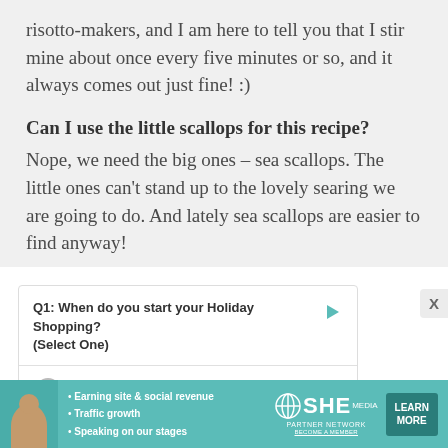risotto-makers, and I am here to tell you that I stir mine about once every five minutes or so, and it always comes out just fine! :)
Can I use the little scallops for this recipe? Nope, we need the big ones – sea scallops. The little ones can't stand up to the lovely searing we are going to do. And lately sea scallops are easier to find anyway!
Q1: When do you start your Holiday Shopping? (Select One)
August
September
[Figure (infographic): SHE Partner Network advertisement banner with bullet points: Earning site & social revenue, Traffic growth, Speaking on our stages. Includes SHE logo with globe icon, PARTNER NETWORK and BECOME A MEMBER text, and a LEARN MORE button.]